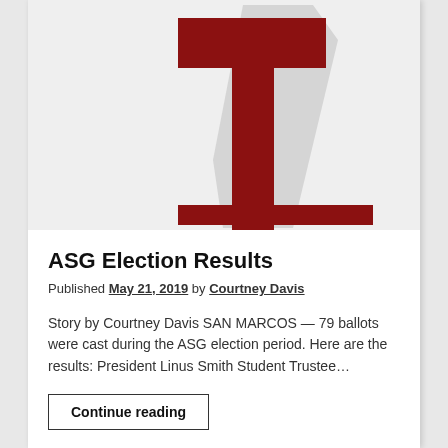[Figure (logo): Large red letter I with a gray drop shadow on a light gray background — newspaper or publication logo]
ASG Election Results
Published May 21, 2019 by Courtney Davis
Story by Courtney Davis SAN MARCOS — 79 ballots were cast during the ASG election period. Here are the results: President Linus Smith Student Trustee…
Continue reading